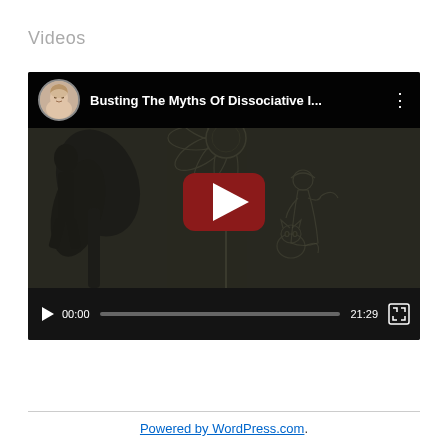Videos
[Figure (screenshot): YouTube video player showing 'Busting The Myths Of Dissociative I...' with a dark illustrated thumbnail featuring a girl, sunflower, and cat. Video controls show playhead at 00:00, total duration 21:29.]
Powered by WordPress.com.